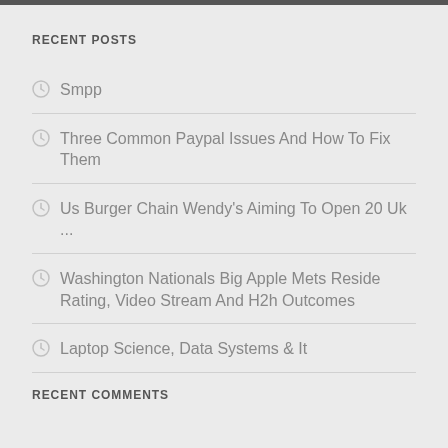RECENT POSTS
Smpp
Three Common Paypal Issues And How To Fix Them
Us Burger Chain Wendy's Aiming To Open 20 Uk...
Washington Nationals Big Apple Mets Reside Rating, Video Stream And H2h Outcomes
Laptop Science, Data Systems & It
RECENT COMMENTS